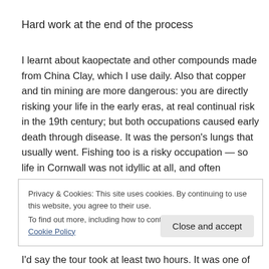Hard work at the end of the process
I learnt about kaopectate and other compounds made from China Clay, which I use daily. Also that copper and tin mining are more dangerous: you are directly risking your life in the early eras, at real continual risk in the 19th century; but both occupations caused early death through disease. It was the person’s lungs that usually went. Fishing too is a risky occupation — so life in Cornwall was not idyllic at all, and often impoverished even if it was early
Privacy & Cookies: This site uses cookies. By continuing to use this website, you agree to their use.
To find out more, including how to control cookies, see here: Cookie Policy
I’d say the tour took at least two hours. It was one of the